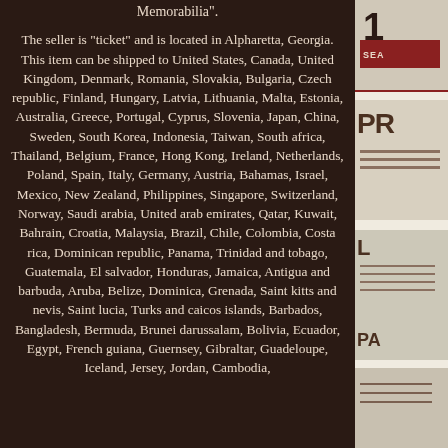Memorabilia".

The seller is "ticket" and is located in Alpharetta, Georgia. This item can be shipped to United States, Canada, United Kingdom, Denmark, Romania, Slovakia, Bulgaria, Czech republic, Finland, Hungary, Latvia, Lithuania, Malta, Estonia, Australia, Greece, Portugal, Cyprus, Slovenia, Japan, China, Sweden, South Korea, Indonesia, Taiwan, South africa, Thailand, Belgium, France, Hong Kong, Ireland, Netherlands, Poland, Spain, Italy, Germany, Austria, Bahamas, Israel, Mexico, New Zealand, Philippines, Singapore, Switzerland, Norway, Saudi arabia, United arab emirates, Qatar, Kuwait, Bahrain, Croatia, Malaysia, Brazil, Chile, Colombia, Costa rica, Dominican republic, Panama, Trinidad and tobago, Guatemala, El salvador, Honduras, Jamaica, Antigua and barbuda, Aruba, Belize, Dominica, Grenada, Saint kitts and nevis, Saint lucia, Turks and caicos islands, Barbados, Bangladesh, Bermuda, Brunei darussalam, Bolivia, Ecuador, Egypt, French guiana, Guernsey, Gibraltar, Guadeloupe, Iceland, Jersey, Jordan, Cambodia,